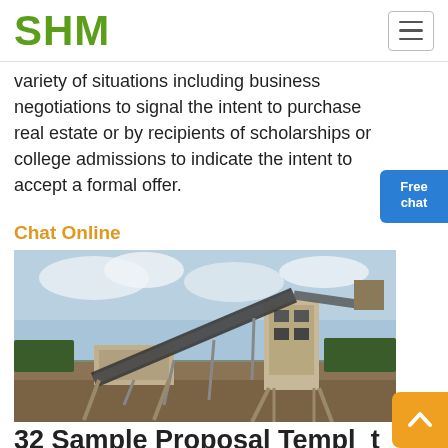SHM
variety of situations including business negotiations to signal the intent to purchase real estate or by recipients of scholarships or college admissions to indicate the intent to accept a formal offer.
Chat Online
[Figure (photo): Industrial mining/crushing plant with conveyor belts and processing equipment against a cloudy sky.]
32 Sample Proposal Templates in Microsoft Word Hloom